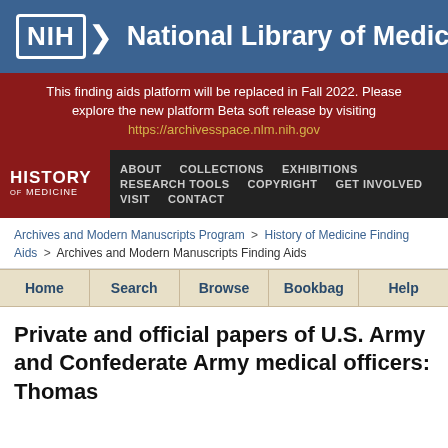[Figure (logo): NIH National Library of Medicine logo with blue header background]
This finding aids platform will be replaced in Fall 2022. Please explore the new platform Beta soft release by visiting https://archivesspace.nlm.nih.gov
[Figure (screenshot): Navigation bar with History of Medicine logo and links: ABOUT, COLLECTIONS, EXHIBITIONS, RESEARCH TOOLS, COPYRIGHT, GET INVOLVED, VISIT, CONTACT]
Archives and Modern Manuscripts Program > History of Medicine Finding Aids > Archives and Modern Manuscripts Finding Aids
Home | Search | Browse | Bookbag | Help
Private and official papers of U.S. Army and Confederate Army medical officers: Thomas